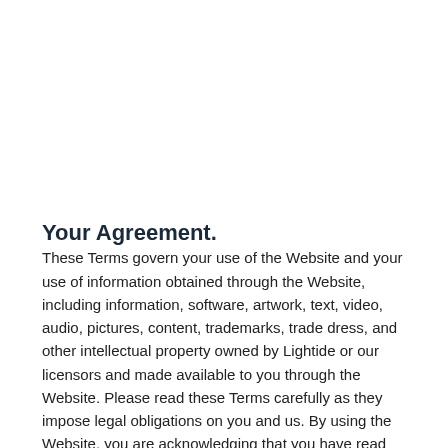Your Agreement.
These Terms govern your use of the Website and your use of information obtained through the Website, including information, software, artwork, text, video, audio, pictures, content, trademarks, trade dress, and other intellectual property owned by Lightide or our licensors and made available to you through the Website. Please read these Terms carefully as they impose legal obligations on you and us. By using the Website, you are acknowledging that you have read and understand the